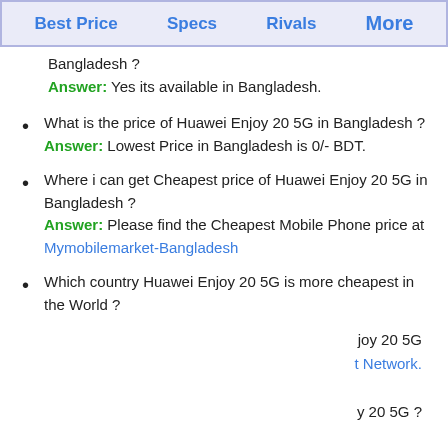Best Price    Specs    Rivals    More
Bangladesh ?
Answer: Yes its available in Bangladesh.
What is the price of Huawei Enjoy 20 5G in Bangladesh ?
Answer: Lowest Price in Bangladesh is 0/- BDT.
Where i can get Cheapest price of Huawei Enjoy 20 5G in Bangladesh ?
Answer: Please find the Cheapest Mobile Phone price at Mymobilemarket-Bangladesh
Which country Huawei Enjoy 20 5G is more cheapest in the World ?
joy 20 5G
t Network.

y 20 5G ?